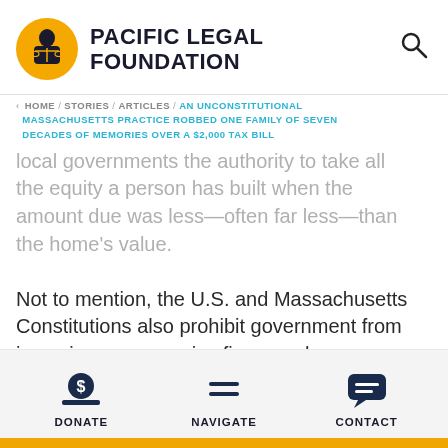[Figure (logo): Pacific Legal Foundation logo: yellow circle with figure of justice, beside bold text 'PACIFIC LEGAL FOUNDATION']
< HOME / STORIES / ARTICLES / AN UNCONSTITUTIONAL MASSACHUSETTS PRACTICE ROBBED ONE FAMILY OF SEVEN DECADES OF MEMORIES OVER A $2,000 TAX BILL
local governments the authority to take all the equity a person has built when the amount due was less—often far less—than the home's value.

Not to mention, the U.S. and Massachusetts Constitutions also prohibit government from imposing an excessive fine on a homeowner for the non-criminal act of failing to keep up
DONATE   NAVIGATE   CONTACT